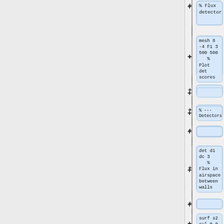[Figure (flowchart): A vertical flowchart on the right side of the page showing MCNP/radiation transport input file code blocks connected by plus buttons and vertical lines. Nodes contain code snippets: '% Flux detector', 'mesh 8 -4 F1 3 500 500 % Plot detector scores', empty node, '% --- Detectors', empty node, 'det d1 dc 3 % Flux in airspace between walls', empty node, 'surf s2 cyl 0.0 160.0 5.0', 'det d2 dtl s2']